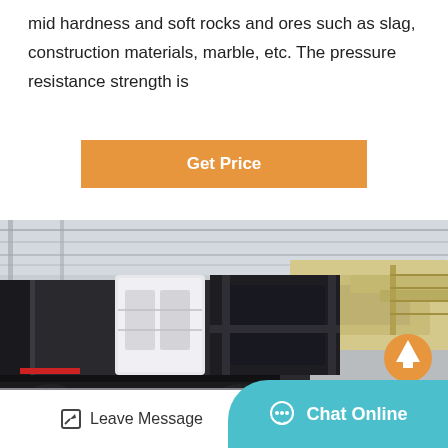mid hardness and soft rocks and ores such as slag, construction materials, marble, etc. The pressure resistance strength is
Get Price
[Figure (photo): Mobile jaw crusher machine inside an industrial warehouse facility. Large black mobile crushing unit with white hopper and conveyor systems visible. An orange upload/up-arrow icon overlay appears at bottom right of the image.]
Leave Message
Chat Online